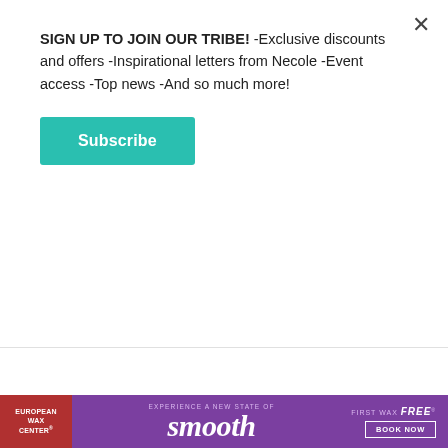SIGN UP TO JOIN OUR TRIBE! -Exclusive discounts and offers -Inspirational letters from Necole -Event access -Top news -And so much more!
Subscribe
CELEBRITY NEWS
Jurnee Smollett Is Learning To Heal: 'I'm Exactly Where I'm Supposed To Be'
XOSTAFF  4H
[Figure (photo): Partial photo of Jurnee Smollett with golden/tan and purple background, top of head visible]
[Figure (infographic): European Wax Center advertisement banner: 'Experience a New State of smooth - First wax free - Book Now' on purple background]